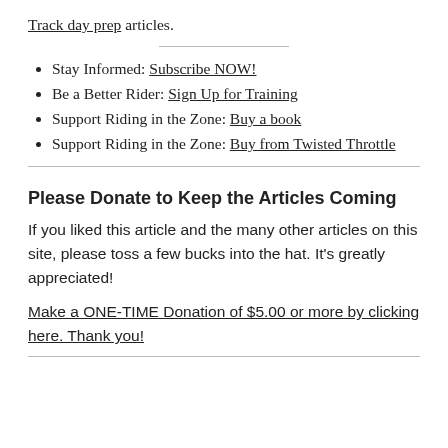Track day prep articles.
Stay Informed: Subscribe NOW!
Be a Better Rider: Sign Up for Training
Support Riding in the Zone: Buy a book
Support Riding in the Zone: Buy from Twisted Throttle
Please Donate to Keep the Articles Coming
If you liked this article and the many other articles on this site, please toss a few bucks into the hat. It's greatly appreciated!
Make a ONE-TIME Donation of $5.00 or more by clicking here. Thank you!